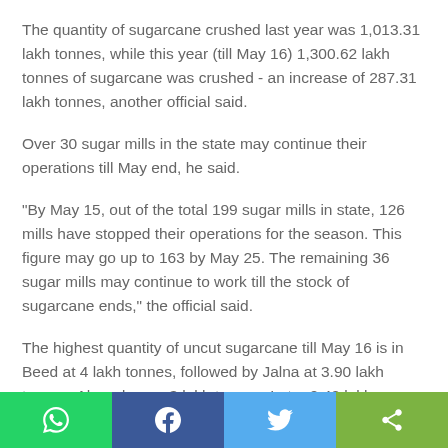The quantity of sugarcane crushed last year was 1,013.31 lakh tonnes, while this year (till May 16) 1,300.62 lakh tonnes of sugarcane was crushed - an increase of 287.31 lakh tonnes, another official said.
Over 30 sugar mills in the state may continue their operations till May end, he said.
"By May 15, out of the total 199 sugar mills in state, 126 mills have stopped their operations for the season. This figure may go up to 163 by May 25. The remaining 36 sugar mills may continue to work till the stock of sugarcane ends," the official said.
The highest quantity of uncut sugarcane till May 16 is in Beed at 4 lakh tonnes, followed by Jalna at 3.90 lakh tonnes, Ahmednagar 3 lakh tonnes, Latur 2.42 lakh tonnes, Osmanabad 2.